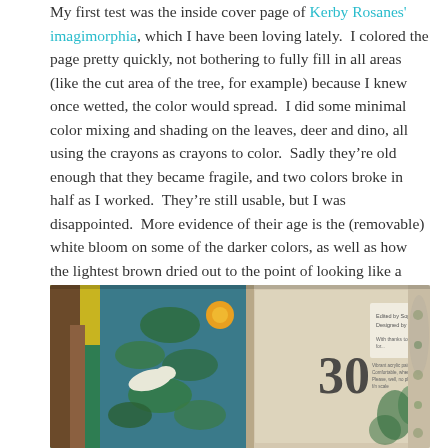My first test was the inside cover page of Kerby Rosanes' imagimorphia, which I have been loving lately.  I colored the page pretty quickly, not bothering to fully fill in all areas (like the cut area of the tree, for example) because I knew once wetted, the color would spread.  I did some minimal color mixing and shading on the leaves, deer and dino, all using the crayons as crayons to color.  Sadly they're old enough that they became fragile, and two colors broke in half as I worked.  They're still usable, but I was disappointed.  More evidence of their age is the (removable) white bloom on some of the darker colors, as well as how the lightest brown dried out to the point of looking like a Flake chocolate bar inside its wrapper.  😕
[Figure (photo): A photograph of an open coloring book showing intricate illustrated pages with birds, leaves, flowers in teal and earth tones, with text visible: 'Edited by Sophie Schrey, Designed by Zoe Bradley' and the number 30 on the right page.]